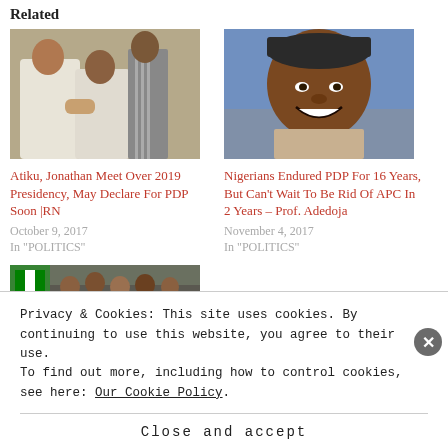Related
[Figure (photo): Two men in traditional Nigerian attire shaking hands or greeting each other at what appears to be a formal event]
Atiku, Jonathan Meet Over 2019 Presidency, May Declare For PDP Soon |RN
October 9, 2017
In "POLITICS"
[Figure (photo): Portrait photo of a smiling man wearing a cap, against a blue background]
Nigerians Endured PDP For 16 Years, But Can't Wait To Be Rid Of APC In 2 Years – Prof. Adedoja
November 4, 2017
In "POLITICS"
[Figure (photo): Group photo of people with Nigerian flags in the background at what appears to be a political gathering]
Privacy & Cookies: This site uses cookies. By continuing to use this website, you agree to their use.
To find out more, including how to control cookies, see here: Our Cookie Policy.
Close and accept